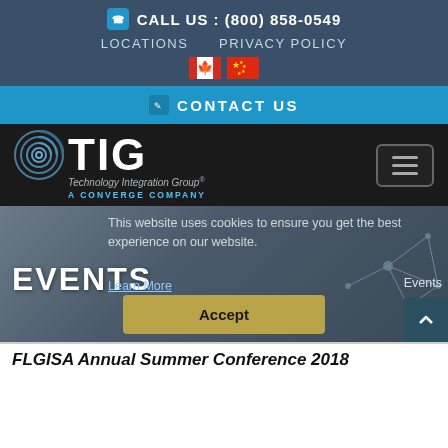CALL US : (800) 858-0549
LOCATIONS   PRIVACY POLICY
[Figure (illustration): Canadian flag and Chinese flag icons]
CONTACT US
[Figure (logo): TIG Technology Integration Group - A Converge Company logo on dark background with hamburger menu button]
This website uses cookies to ensure you get the best experience on our website.
Learn More
EVENTS
Events
Accept
FLGISA Annual Summer Conference 2018